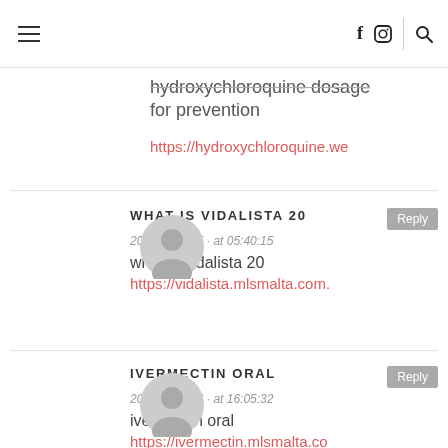Navigation bar with hamburger menu, facebook, instagram, and search icons
hydroxychloroquine dosage for prevention
https://hydroxychloroquine.we
WHAT IS VIDALISTA 20
2020 · 11 · 25 · at 05:40:15
what is vidalista 20
https://vidalista.mlsmalta.com.
IVERMECTIN ORAL
2020 · 11 · 26 · at 16:05:32
ivermectin oral
https://ivermectin.mlsmalta.co